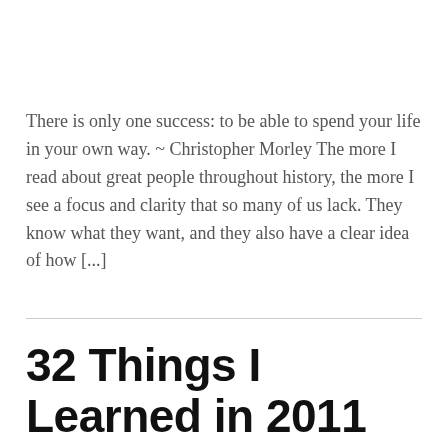There is only one success: to be able to spend your life in your own way. ~ Christopher Morley The more I read about great people throughout history, the more I see a focus and clarity that so many of us lack. They know what they want, and they also have a clear idea of how [...]
32 Things I Learned in 2011 That Can Help You